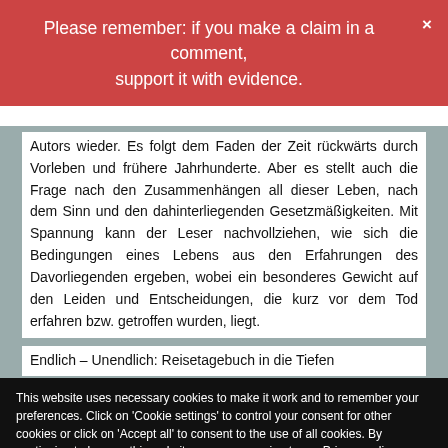Please remember: if you make a claim in a comment, support it with evidence.
Autors wieder. Es folgt dem Faden der Zeit rückwärts durch Vorleben und frühere Jahrhunderte. Aber es stellt auch die Frage nach den Zusammenhängen all dieser Leben, nach dem Sinn und den dahinterliegenden Gesetzmäßigkeiten. Mit Spannung kann der Leser nachvollziehen, wie sich die Bedingungen eines Lebens aus den Erfahrungen des Davorliegenden ergeben, wobei ein besonderes Gewicht auf den Leiden und Entscheidungen, die kurz vor dem Tod erfahren bzw. getroffen wurden, liegt.
Endlich – Unendlich: Reisetagebuch in die Tiefen
This website uses necessary cookies to make it work and to remember your preferences. Click on 'Cookie settings' to control your consent for other cookies or click on 'Accept all' to consent to the use of all cookies. By continuing to browse this website you are agreeing to our Privacy policy.
Accept all
Cookie settings
Privacy policy